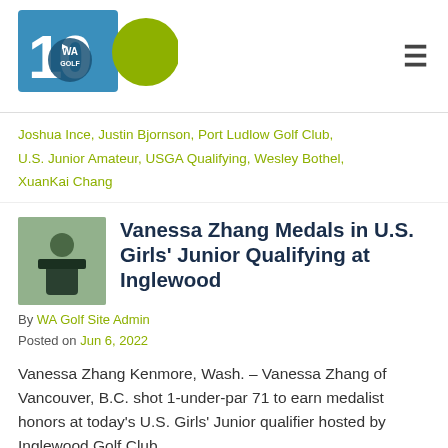[Figure (logo): WA Golf 100th anniversary logo — blue square with '100' text and a green circle, with 'WA GOLF' emblem in the center]
Joshua Ince, Justin Bjornson, Port Ludlow Golf Club, U.S. Junior Amateur, USGA Qualifying, Wesley Bothel, XuanKai Chang
Vanessa Zhang Medals in U.S. Girls' Junior Qualifying at Inglewood
By WA Golf Site Admin
Posted on Jun 6, 2022
Vanessa Zhang Kenmore, Wash. – Vanessa Zhang of Vancouver, B.C. shot 1-under-par 71 to earn medalist honors at today's U.S. Girls' Junior qualifier hosted by Inglewood Golf Club